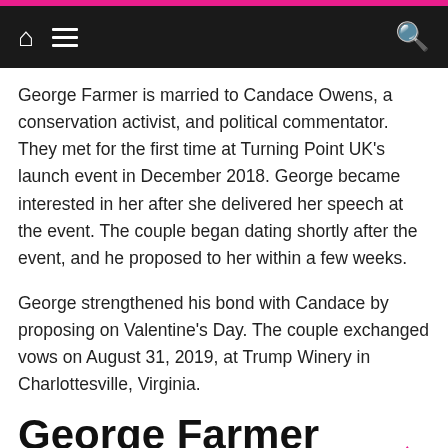Navigation bar with home, menu, and search icons
George Farmer is married to Candace Owens, a conservation activist, and political commentator. They met for the first time at Turning Point UK's launch event in December 2018. George became interested in her after she delivered her speech at the event. The couple began dating shortly after the event, and he proposed to her within a few weeks.
George strengthened his bond with Candace by proposing on Valentine's Day. The couple exchanged vows on August 31, 2019, at Trump Winery in Charlottesville, Virginia.
George Farmer Net Worth and Career